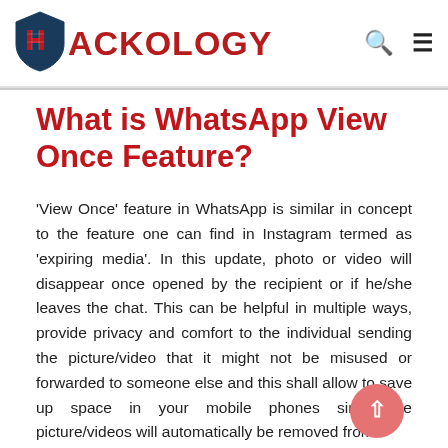HACKOLOGY
What is WhatsApp View Once Feature?
'View Once' feature in WhatsApp is similar in concept to the feature one can find in Instagram termed as 'expiring media'. In this update, photo or video will disappear once opened by the recipient or if he/she leaves the chat. This can be helpful in multiple ways, provide privacy and comfort to the individual sending the picture/video that it might not be misused or forwarded to someone else and this shall allow to save up space in your mobile phones since the picture/videos will automatically be removed from